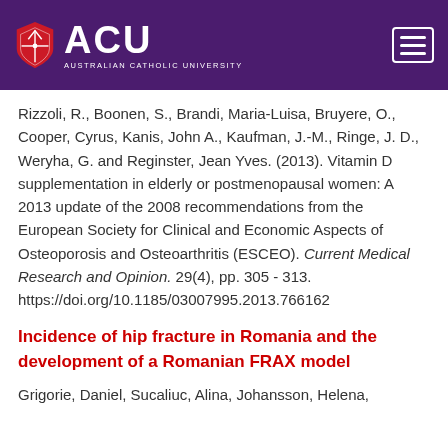ACU - Australian Catholic University
Rizzoli, R., Boonen, S., Brandi, Maria-Luisa, Bruyere, O., Cooper, Cyrus, Kanis, John A., Kaufman, J.-M., Ringe, J. D., Weryha, G. and Reginster, Jean Yves. (2013). Vitamin D supplementation in elderly or postmenopausal women: A 2013 update of the 2008 recommendations from the European Society for Clinical and Economic Aspects of Osteoporosis and Osteoarthritis (ESCEO). Current Medical Research and Opinion. 29(4), pp. 305 - 313. https://doi.org/10.1185/03007995.2013.766162
Incidence of hip fracture in Romania and the development of a Romanian FRAX model
Grigorie, Daniel, Sucaliuc, Alina, Johansson, Helena,